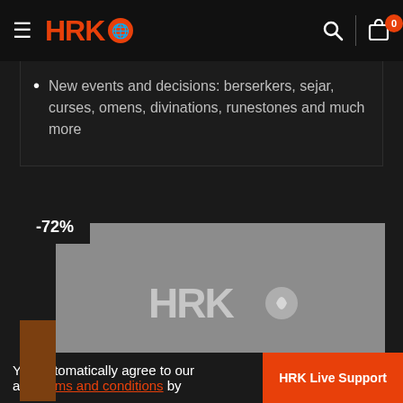HRK (logo) — navigation bar with search and cart (0 items)
New events and decisions: berserkers, sejar, curses, omens, divinations, runestones and much more
[Figure (screenshot): Product card for No Man's Sky showing -72% discount badge, grey placeholder image with HRK logo watermark]
No Man's Sky
[Figure (screenshot): Partially visible second product card with -75% discount badge]
You automatically agree to our and terms and conditions by
HRK Live Support